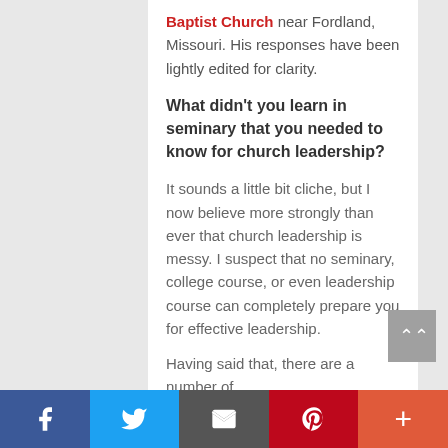Baptist Church near Fordland, Missouri. His responses have been lightly edited for clarity.
What didn't you learn in seminary that you needed to know for church leadership?
It sounds a little bit cliche, but I now believe more strongly than ever that church leadership is messy. I suspect that no seminary, college course, or even leadership course can completely prepare you for effective leadership.
Having said that, there are a number of